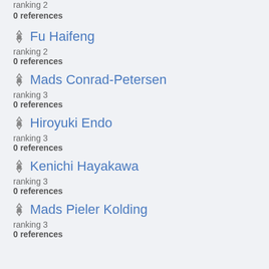ranking 2
0 references
Fu Haifeng
ranking 2
0 references
Mads Conrad-Petersen
ranking 3
0 references
Hiroyuki Endo
ranking 3
0 references
Kenichi Hayakawa
ranking 3
0 references
Mads Pieler Kolding
ranking 3
0 references